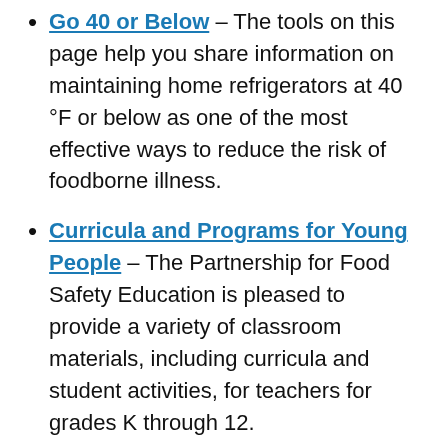Go 40 or Below – The tools on this page help you share information on maintaining home refrigerators at 40 °F or below as one of the most effective ways to reduce the risk of foodborne illness.
Curricula and Programs for Young People – The Partnership for Food Safety Education is pleased to provide a variety of classroom materials, including curricula and student activities, for teachers for grades K through 12.